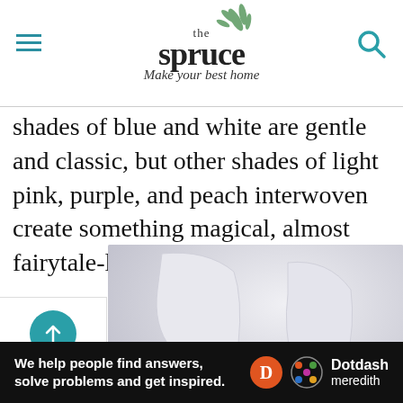the spruce — Make your best home
shades of blue and white are gentle and classic, but other shades of light pink, purple, and peach interwoven create something magical, almost fairytale-like.
[Figure (photo): Two white modern chairs photographed against a white/light gray background]
[Figure (infographic): Back to Top button with teal circle and upward arrow]
Ad
We help people find answers, solve problems and get inspired. Dotdash meredith